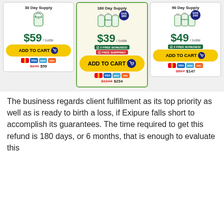[Figure (infographic): Three product pricing cards for Exipure supplement. Left card: 1 Bottle, 30 Day Supply, $59/bottle, Add to Cart button, credit card icons, $199 crossed out, $59. Middle card (featured): 6 Bottles, 180 Day Supply, Save $900 badge, $39/bottle, 2 Free Bonuses, Free Shipping, Add to Cart button, credit card icons, $1194 crossed out, $234. Right card: 3 Bottles, 90 Day Supply, Save $420 badge, $49/bottle, 2 Free Bonuses, Add to Cart button, credit card icons, $597 crossed out, $147.]
The business regards client fulfillment as its top priority as well as is ready to birth a loss, if Exipure falls short to accomplish its guarantees. The time required to get this refund is 180 days, or 6 months, that is enough to evaluate this